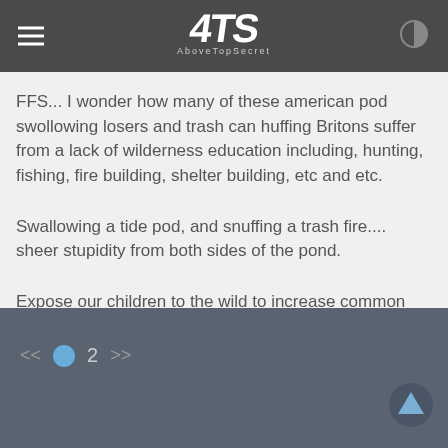4TS AboveTopSecret
FFS... I wonder how many of these american pod swollowing losers and trash can huffing Britons suffer from a lack of wilderness education including, hunting, fishing, fire building, shelter building, etc and etc.
Swallowing a tide pod, and snuffing a trash fire.... sheer stupidity from both sides of the pond.
Expose our children to the wild to increase common sense!!!
<< • 2 >>